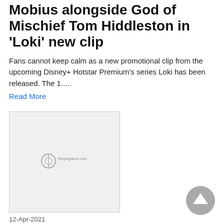Mobius alongside God of Mischief Tom Hiddleston in 'Loki' new clip
Fans cannot keep calm as a new promotional clip from the upcoming Disney+ Hotstar Premium's series Loki has been released. The 1.....
Read More
[Figure (photo): Thumbnail image with PeepingMoon.com watermark logo]
12-Apr-2021
Big Shot Review: John Stamos' series is high on girl power as it celebrates their triumph on a basketball court
Series: Big Shot
Cast: John Stamos, Jessalyn Gilsig, Yvette Nicole Brown,